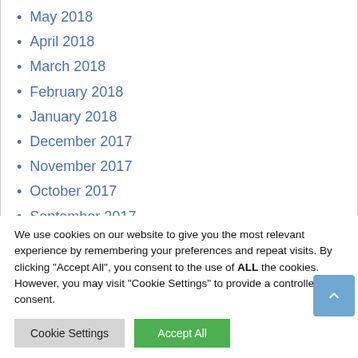May 2018
April 2018
March 2018
February 2018
January 2018
December 2017
November 2017
October 2017
September 2017
August 2017
We use cookies on our website to give you the most relevant experience by remembering your preferences and repeat visits. By clicking "Accept All", you consent to the use of ALL the cookies. However, you may visit "Cookie Settings" to provide a controlled consent.